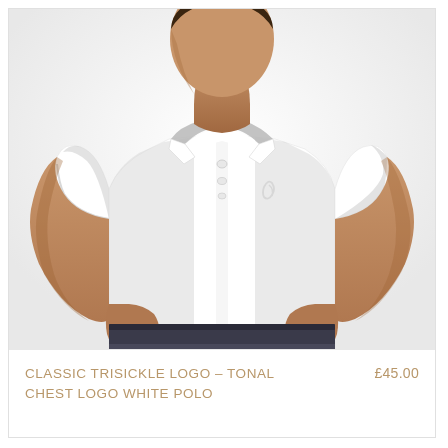[Figure (photo): A man wearing a white short-sleeve polo shirt with a tonal chest logo and grey collar detail, hands in pockets, against a white background.]
CLASSIC TRISICKLE LOGO – TONAL CHEST LOGO WHITE POLO
£45.00